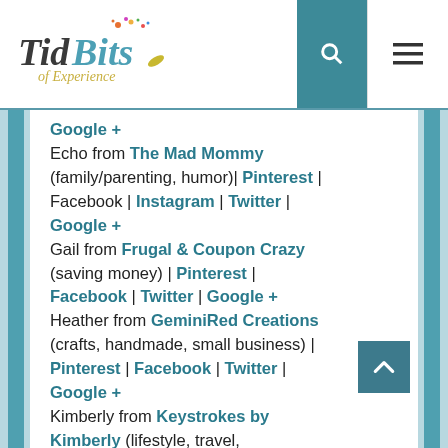TidBits of Experience — site header with search and menu icons
Google +
Echo from The Mad Mommy (family/parenting, humor)| Pinterest | Facebook | Instagram | Twitter | Google +
Gail from Frugal & Coupon Crazy (saving money) | Pinterest | Facebook | Twitter | Google +
Heather from GeminiRed Creations (crafts, handmade, small business) | Pinterest | Facebook | Twitter | Google +
Kimberly from Keystrokes by Kimberly (lifestyle, travel, entertainment) | Pinterest | Facebook | Instagram | Twitter...